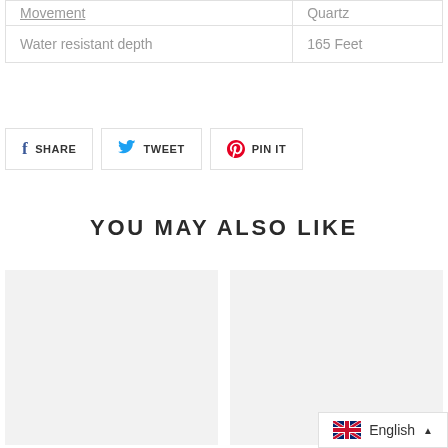| Movement | Quartz |
| Water resistant depth | 165 Feet |
[Figure (other): Social sharing buttons: Share on Facebook, Tweet on Twitter, Pin on Pinterest]
YOU MAY ALSO LIKE
[Figure (other): Two product image placeholder boxes side by side]
[Figure (other): Language selector widget showing English with UK flag]